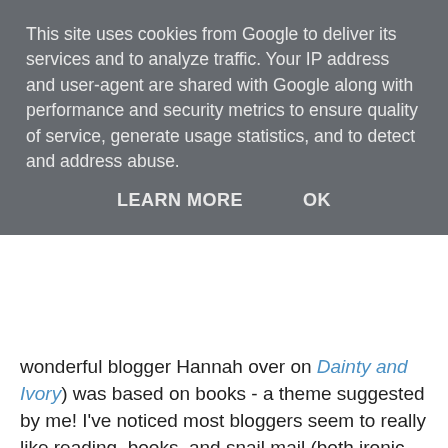This site uses cookies from Google to deliver its services and to analyze traffic. Your IP address and user-agent are shared with Google along with performance and security metrics to ensure quality of service, generate usage statistics, and to detect and address abuse.
LEARN MORE   OK
wonderful blogger Hannah over on Dainty and Ivory) was based on books - a theme suggested by me! I've noticed most bloggers seem to really like reading, books, and snail mail (both ironic and not if you get my meaning) and so a theme of books was what first popped into my head when Hannah sent out an email asking for ideas.
And then funnily enough I drew a blank when it came to deciding what to make! Particularly strange as I was given Cate (see her lovely blog here) and her taste in books is really just like mine; magical, adventure, something you can get lost in, and just anything really! But I had said I wanted to try and move away from crochet for this one (see my posts on the first two crocheted swaps I took part in here and here) and so I put together a pinterest board on book crafts and